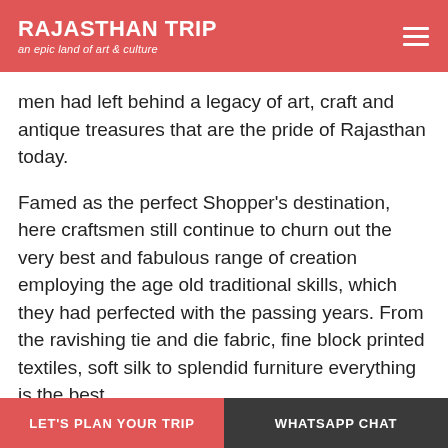RAJASTHAN TRIP
an epic land of art & culture
men had left behind a legacy of art, craft and antique treasures that are the pride of Rajasthan today.
Famed as the perfect Shopper's destination, here craftsmen still continue to churn out the very best and fabulous range of creation employing the age old traditional skills, which they had perfected with the passing years. From the ravishing tie and die fabric, fine block printed textiles, soft silk to splendid furniture everything is the best.
want to know more ? click here
LET'S PLAN YOUR TRIP    WHATSAPP CHAT